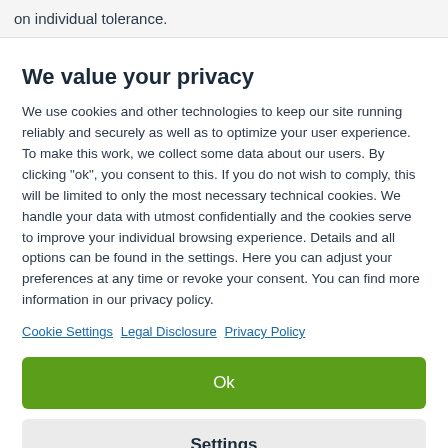on individual tolerance.
We value your privacy
We use cookies and other technologies to keep our site running reliably and securely as well as to optimize your user experience. To make this work, we collect some data about our users. By clicking "ok", you consent to this. If you do not wish to comply, this will be limited to only the most necessary technical cookies. We handle your data with utmost confidentially and the cookies serve to improve your individual browsing experience. Details and all options can be found in the settings. Here you can adjust your preferences at any time or revoke your consent. You can find more information in our privacy policy.
Cookie Settings Legal Disclosure Privacy Policy
Ok
Settings